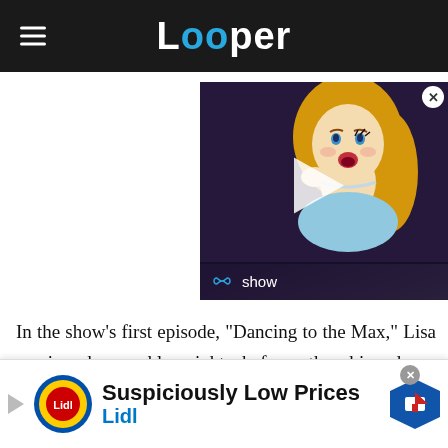Looper
[Figure (screenshot): Video thumbnail showing animated Cinderella character with play button overlay and 'show' label in bottom bar]
In the show's first episode, "Dancing to the Max," Lisa sprains her ankle right before the big dance competition at the Max, which prompts her partner to drop out. With nowhere else to turn, she reluctantly agrees to let Screech be her partner. Her
[Figure (other): Lidl advertisement banner: 'Suspiciously Low Prices' with Lidl logo and navigation arrow]